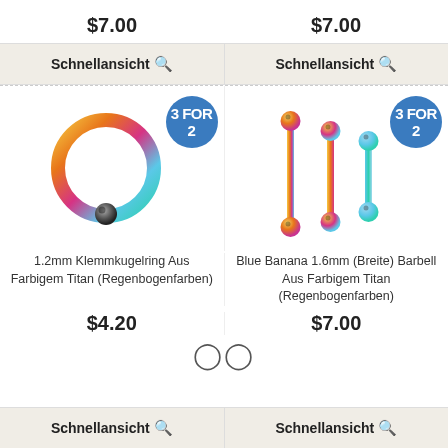$7.00
$7.00
Schnellansicht 🔍
Schnellansicht 🔍
[Figure (photo): Rainbow titanium captive bead ring (Klemmkugelring) with a dark metallic ball closure, shown against white background. A blue '3 FOR 2' circular badge is visible in the top right.]
[Figure (photo): Three rainbow titanium straight barbells of different lengths (Blue Banana 1.6mm), arranged side by side against white background. A blue '3 FOR 2' circular badge is visible in the top right.]
1.2mm Klemmkugelring Aus Farbigem Titan (Regenbogenfarben)
Blue Banana 1.6mm (Breite) Barbell Aus Farbigem Titan (Regenbogenfarben)
$4.20
$7.00
Schnellansicht 🔍
Schnellansicht 🔍